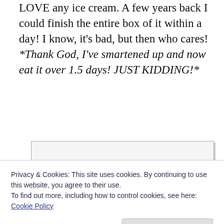LOVE any ice cream. A few years back I could finish the entire box of it within a day! I know, it's bad, but then who cares! *Thank God, I've smartened up and now eat it over 1.5 days! JUST KIDDING!*
[Figure (other): Partial image box with 'Ice Cream Addict' text at bottom right, partially obscured by cookie banner]
Privacy & Cookies: This site uses cookies. By continuing to use this website, you agree to their use.
To find out more, including how to control cookies, see here: Cookie Policy
Close and accept